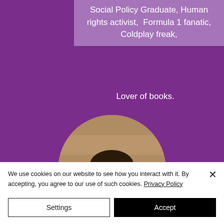Social Policy Graduate, Human rights activist,  Formula 1 fanatic, Coldplay freak,
Lover of books.
[Figure (photo): Circular portrait photo of a young man with curly dark hair, smiling, wearing a white shirt, photographed against a stone/brick background.]
We use cookies on our website to see how you interact with it. By accepting, you agree to our use of such cookies. Privacy Policy
Settings
Accept